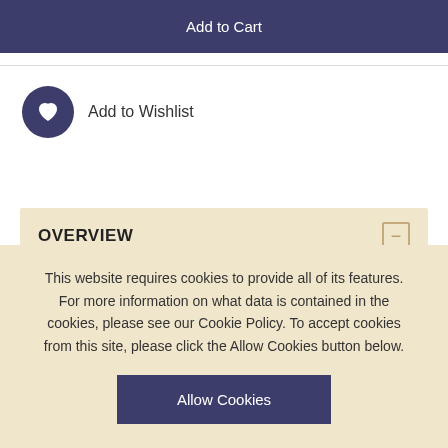Add to Cart
Add to Wishlist
OVERVIEW
Few army chaplains had as varied a career during the First World War as the Reverend Benjamin O'Rorke. A regular army chaplain who had seen service in
This website requires cookies to provide all of its features. For more information on what data is contained in the cookies, please see our Cookie Policy. To accept cookies from this site, please click the Allow Cookies button below.
Allow Cookies